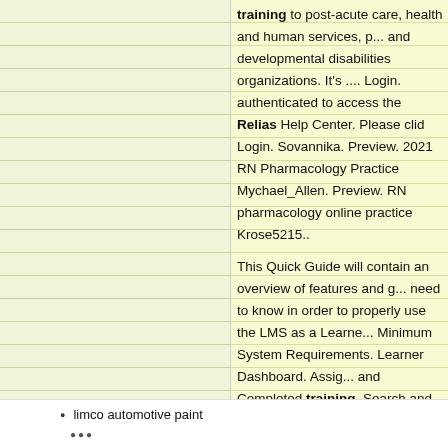training to post-acute care, health and human services, and developmental disabilities organizations. It's .... Login. authenticated to access the Relias Help Center. Please click Login. Sovannika. Preview. 2021 RN Pharmacology Practice Mychael_Allen. Preview. RN pharmacology online practice Krose5215..
This Quick Guide will contain an overview of features and guidance you need to know in order to properly use the LMS as a Learner. Minimum System Requirements. Learner Dashboard. Assignments and Completed training. Search and Self-Enrollment in M... (if allows).
Emergency Medicine. Our emergency medicine publications cover trauma, emergency department management, and more. Plus, you'll gain coverage on dedicated topics alongside LLSA prep credits included.. Free Relias Learning Training. Login ** Username/Password Combination ** Username: Password: please email Morning Pointe Information Technology. Relias just a few examples of the modules available to providers portal training portal Relias training login. Relias test questions web based online training tool that allows you to deliver...
limco automotive paint